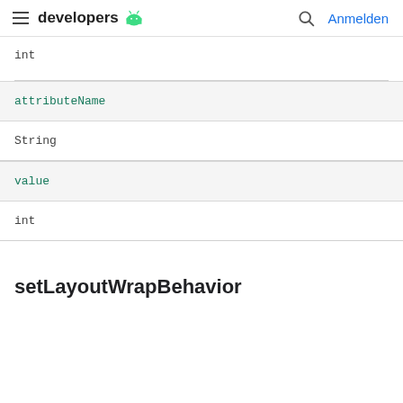developers | Anmelden
int
| attributeName |
| --- |
| String |
| value |
| --- |
| int |
setLayoutWrapBehavior